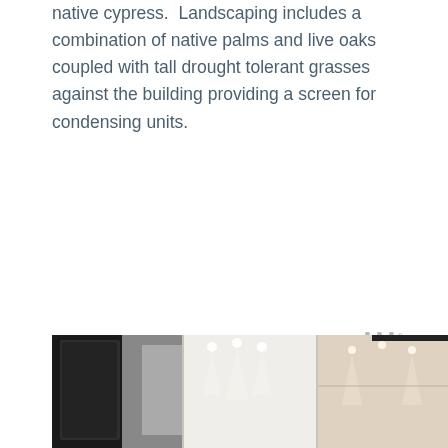native cypress.  Landscaping includes a combination of native palms and live oaks coupled with tall drought tolerant grasses against the building providing a screen for condensing units.
[Figure (photo): Interior architectural photograph showing a modern building lobby or hallway with recessed lighting, white walls, and a dark accent stripe, split into two panels]